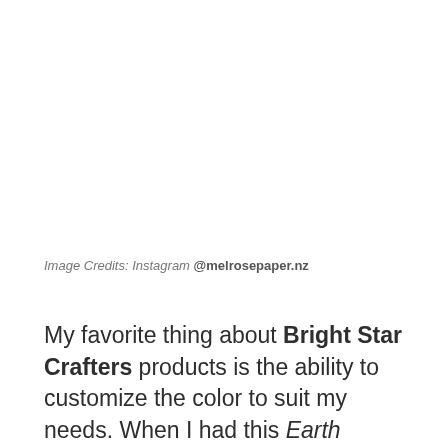Image Credits: Instagram @melrosepaper.nz
My favorite thing about Bright Star Crafters products is the ability to customize the color to suit my needs. When I had this Earth collection in mind, I knew I wanted a dirt brown color, and I was able to customize each pattern to match that perfectly. And the super speedy shipping to New Zealand is always a win.